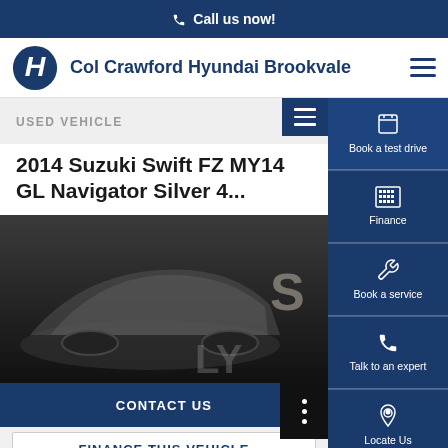Call us now!
Col Crawford Hyundai Brookvale
USED VEHICLE
2014 Suzuki Swift FZ MY14 GL Navigator Silver 4...
[Figure (photo): Car image placeholder - dark/grey background showing partial view of a silver vehicle, overlaid with 'S' and partial text]
Book a test drive
Finance
Book a service
Talk to an expert
Locate Us
CONTACT US
FINANCE THIS VEHICLE